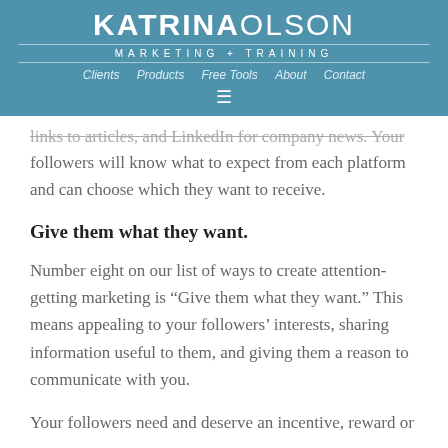KATRINA OLSON MARKETING + TRAINING | Clients | Products | Free Tools | About | Contact
links to articles, and LinkedIn for company news. Your followers will know what to expect from each platform and can choose which they want to receive.
Give them what they want.
Number eight on our list of ways to create attention-getting marketing is “Give them what they want.” This means appealing to your followers’ interests, sharing information useful to them, and giving them a reason to communicate with you.
Your followers need and deserve an incentive, reward or